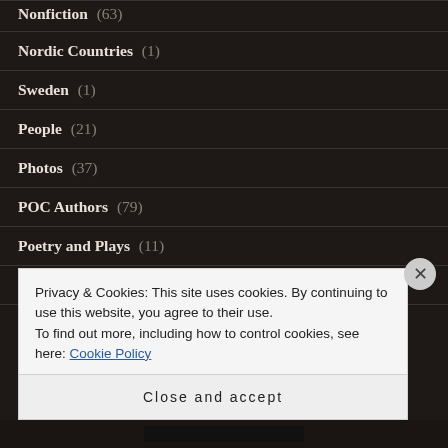Nonfiction (63)
Nordic Countries (1)
Sweden (1)
People (21)
Photos (37)
POC Authors (79)
Poetry and Plays (11)
Politics (40)
Privacy & Cookies: This site uses cookies. By continuing to use this website, you agree to their use.
To find out more, including how to control cookies, see here: Cookie Policy
Close and accept